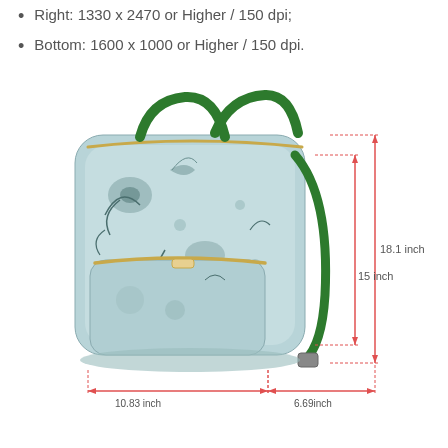Right: 1330 x 2470 or Higher / 150 dpi;
Bottom: 1600 x 1000 or Higher / 150 dpi.
[Figure (engineering-diagram): A floral-patterned backpack with green handles and straps shown with dimension annotations: 18.1 inch height (top to bottom right), 15 inch height (inner), 10.83 inch width (bottom left), 6.69 inch width (bottom right). Dimension lines are drawn in red/pink on the right side and bottom of the bag.]